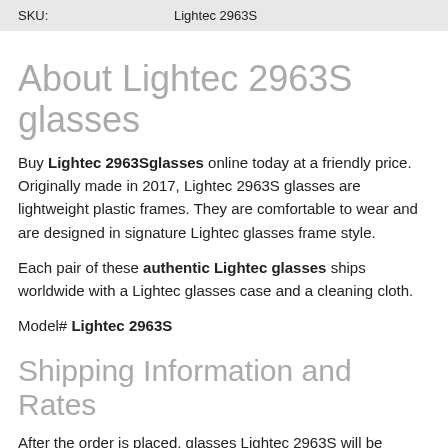| SKU: |  |
| --- | --- |
| SKU: | Lightec 2963S |
About Lightec 2963S glasses
Buy Lightec 2963Sglasses online today at a friendly price. Originally made in 2017, Lightec 2963S glasses are lightweight plastic frames. They are comfortable to wear and are designed in signature Lightec glasses frame style.
Each pair of these authentic Lightec glasses ships worldwide with a Lightec glasses case and a cleaning cloth.
Model# Lightec 2963S
Shipping Information and Rates
After the order is placed, glasses Lightec 2963S will be packed and shipped to you via fastest shipping method to your location.
All shipments are with tracking and insurance. International shipping is via Air Mail.